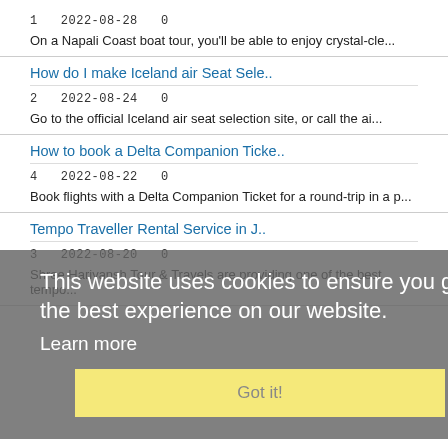1   2022-08-28   0
On a Napali Coast boat tour, you'll be able to enjoy crystal-cle...
How do I make Iceland air Seat Sele..
2   2022-08-24   0
Go to the official Iceland air seat selection site, or call the ai...
How to book a Delta Companion Ticke..
4   2022-08-22   0
Book flights with a Delta Companion Ticket for a round-trip in a p...
Tempo Traveller Rental Service in J..
3   2022-08-20   0
Shree Harivansh Tour & Travels are providing one of the best tempo...
This website uses cookies to ensure you get the best experience on our website.
Learn more
Got it!